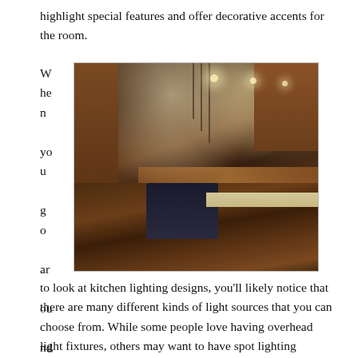highlight special features and offer decorative accents for the room.
[Figure (photo): Interior photo of a large, elegant kitchen with dark wood cabinetry, a dark kitchen island, hardwood floors, pendant lights, recessed ceiling lights, and granite countertops.]
When you go around to look at kitchen lighting designs, you'll likely notice that there are many different kinds of light sources that you can choose from. While some people love having overhead light fixtures, others may want to have spot lighting effects. Others may want to add dimmer switches so that